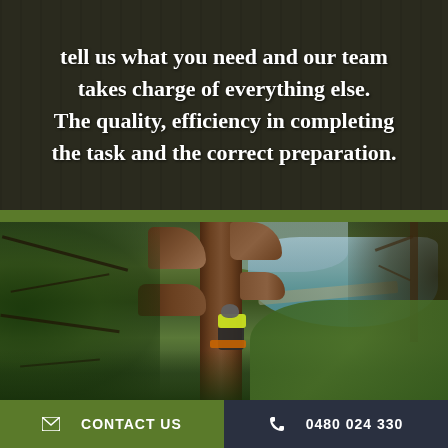tell us what you need and our team takes charge of everything else. The quality, efficiency in completing the task and the correct preparation.
[Figure (photo): An arborist in a high-visibility yellow jacket and safety helmet climbing a large tree with cut branches, high above a reservoir or lake surrounded by dense green forest.]
CONTACT US
0480 024 330